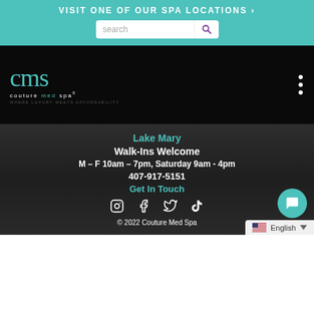VISIT ONE OF OUR SPA LOCATIONS ›
[Figure (screenshot): Search bar with magnifying glass icon on teal background]
[Figure (logo): Couture Med Spa logo - cms script lettering in teal, black background, tagline: where luxury meets affordability]
Lake Mary
Walk-Ins Welcome
M – F 10am – 7pm, Saturday 9am - 4pm
407-917-5151
Get In Touch
[Figure (infographic): Social media icons: Instagram, Facebook, Twitter/X, TikTok]
© 2022 Couture Med Spa
English